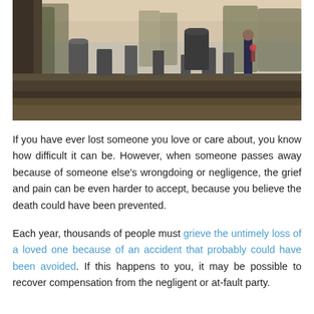[Figure (photo): A person standing in a cemetery among gravestones and trees, holding flowers, viewed from behind. Autumn/winter setting with bare ground and muted natural light.]
If you have ever lost someone you love or care about, you know how difficult it can be. However, when someone passes away because of someone else's wrongdoing or negligence, the grief and pain can be even harder to accept, because you believe the death could have been prevented.
Each year, thousands of people must grieve the untimely loss of a loved one because of an accident that probably could have been avoided. If this happens to you, it may be possible to recover compensation from the negligent or at-fault party.